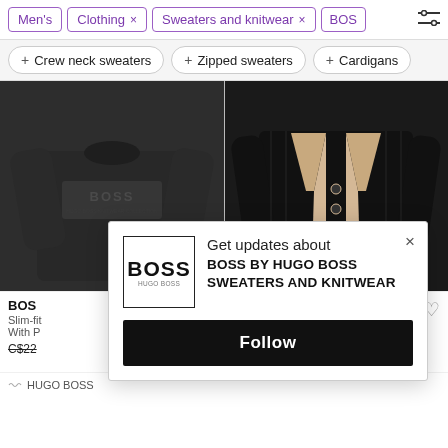Men's | Clothing × | Sweaters and knitwear × | BOSS
+ Crew neck sweaters
+ Zipped sweaters
+ Cardigans
[Figure (photo): Dark gray BOSS sweater with logo graphic on chest, long sleeves, shown on white background]
[Figure (photo): Black ribbed cardigan with beige/cream trim on button placket and collar, shown on white background]
BOSS Slim-fit With P C$22
S an - C$305
[Figure (screenshot): Modal popup: BOSS logo box, text 'Get updates about BOSS BY HUGO BOSS SWEATERS AND KNITWEAR', Follow button, close X]
HUGO BOSS